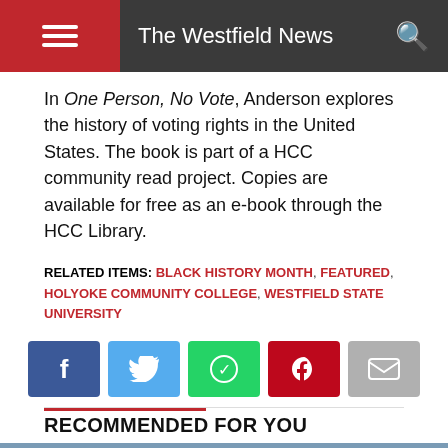The Westfield News
In One Person, No Vote, Anderson explores the history of voting rights in the United States. The book is part of a HCC community read project. Copies are available for free as an e-book through the HCC Library.
RELATED ITEMS: BLACK HISTORY MONTH, FEATURED, HOLYOKE COMMUNITY COLLEGE, WESTFIELD STATE UNIVERSITY
[Figure (infographic): Row of five social media share buttons: Facebook (blue), Twitter (light blue), WhatsApp (green), Pinterest (red), Email (grey)]
RECOMMENDED FOR YOU
[Figure (photo): Blurred photo of people in a gymnasium/sports venue, with a raised hand in the foreground wearing a face mask.]